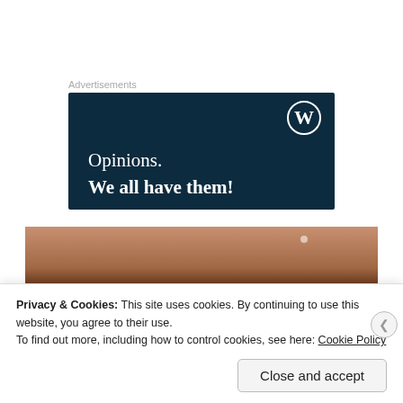Advertisements
[Figure (screenshot): WordPress advertisement banner with dark navy background showing WordPress logo (W in circle) in top right, and text 'Opinions. We all have them!' in white serif font.]
[Figure (photo): Partial photo strip showing warm brown/copper tones, appears to be a cropped photograph.]
Privacy & Cookies: This site uses cookies. By continuing to use this website, you agree to their use.
To find out more, including how to control cookies, see here: Cookie Policy
Close and accept